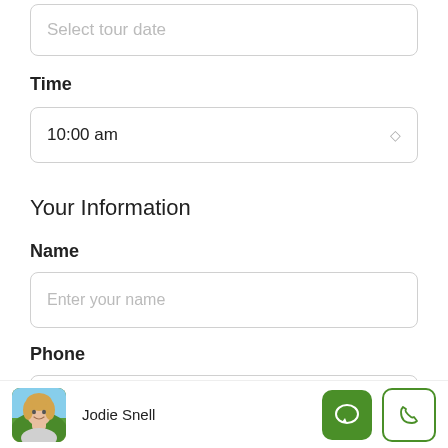Select tour date
Time
10:00 am
Your Information
Name
Enter your name
Phone
Enter your Phone
Jodie Snell